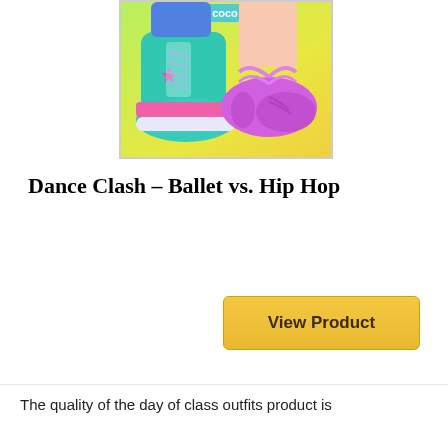[Figure (screenshot): Game app icon/screenshot showing two pairs of dancer feet — left foot in a green and pink high-top sneaker (hip hop style) and right foot in a purple ballet flat/pointe shoe, against a yellow-green gradient background. Text 'coco' visible at top.]
Dance Clash – Ballet vs. Hip Hop
View Product
The quality of the day of class outfits product is